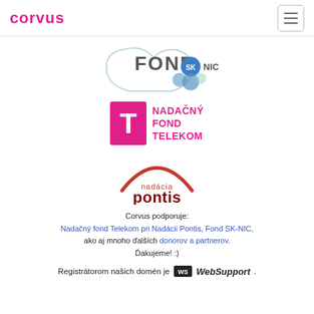corvus
[Figure (logo): FOND SK-NIC logo with head silhouette and overlapping blue circles]
[Figure (logo): Nadačný Fond Telekom logo — magenta T-Mobile T in pink box with bold magenta text NADAČNÝ FOND TELEKOM]
[Figure (logo): Nadácia Pontis logo — red arc above text nadácia pontis in red/dark red]
Corvus podporuje:
Nadačný fond Telekom pri Nadácii Pontis, Fond SK-NIC,
ako aj mnoho ďalších donorov a partnerov.
Ďakujeme! :)
Registrátorom našich domén je WebSupport .